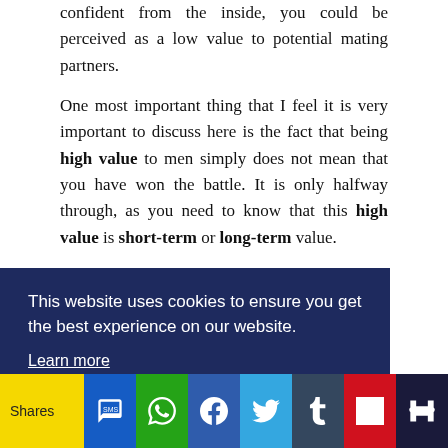confident from the inside, you could be perceived as a low value to potential mating partners. One most important thing that I feel it is very important to discuss here is the fact that being high value to men simply does not mean that you have won the battle. It is only halfway through, as you need to know that this high value is short-term or long-term value.
Short term high value means when your partner feels that you have a high value to him because of your physical [appearance, attraction] and this could lead to a relationship [...] s and [...] !) and [...] want
This website uses cookies to ensure you get the best experience on our website. Learn more
Shares